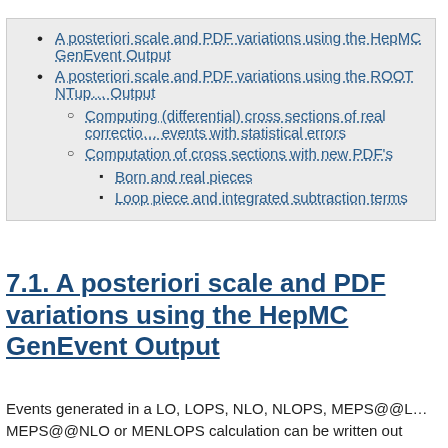A posteriori scale and PDF variations using the HepMC GenEvent Output
A posteriori scale and PDF variations using the ROOT NTuple Output
Computing (differential) cross sections of real correction events with statistical errors
Computation of cross sections with new PDF's
Born and real pieces
Loop piece and integrated subtraction terms
7.1. A posteriori scale and PDF variations using the HepMC GenEvent Output
Events generated in a LO, LOPS, NLO, NLOPS, MEPS@@LO, MEPS@@NLO or MENLOPS calculation can be written out